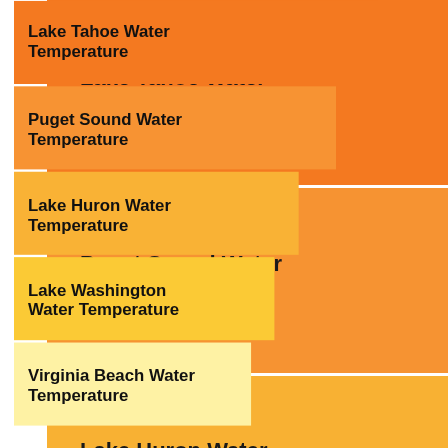[Figure (bar-chart): Water Temperature Comparison]